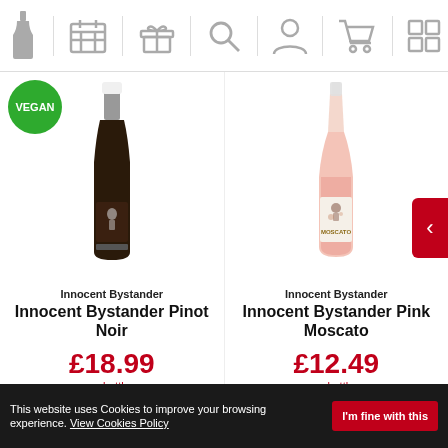Navigation bar with icons: wine bottle, calendar/cases, gift, search, account, cart, list view
[Figure (photo): Innocent Bystander Pinot Noir dark wine bottle with VEGAN badge in top left]
[Figure (photo): Innocent Bystander Pink Moscato rose wine bottle in clear glass]
Innocent Bystander
Innocent Bystander Pinot Noir
£18.99
a bottle
Innocent Bystander
Innocent Bystander Pink Moscato
£12.49
a bottle
This website uses Cookies to improve your browsing experience. View Cookies Policy  I'm fine with this